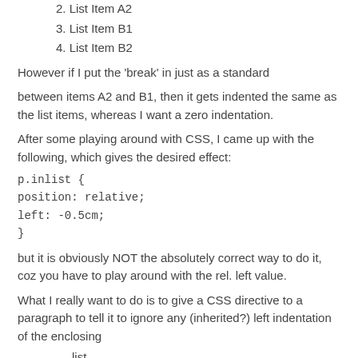2. List Item A2
3. List Item B1
4. List Item B2
However if I put the 'break' in just as a standard
between items A2 and B1, then it gets indented the same as the list items, whereas I want a zero indentation.
After some playing around with CSS, I came up with the following, which gives the desired effect:
but it is obviously NOT the absolutely correct way to do it, coz you have to play around with the rel. left value.
What I really want to do is to give a CSS directive to a paragraph to tell it to ignore any (inherited?) left indentation of the enclosing
list.
What is the correct way to do this?
By the way, this is for RoboHelp 7 HTML, I am fiddling about in the HTML view and with the CSS file 'behind the scenes'.